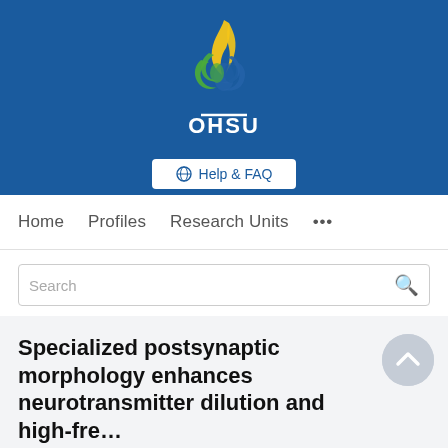[Figure (logo): OHSU (Oregon Health & Science University) logo with flame and double helix design on blue background, white OHSU text below]
[Figure (screenshot): Help & FAQ button with globe icon]
Home   Profiles   Research Units   ...
Search
Specialized postsynaptic morphology enhances neurotransmitter dilution and high-frequency discrimination